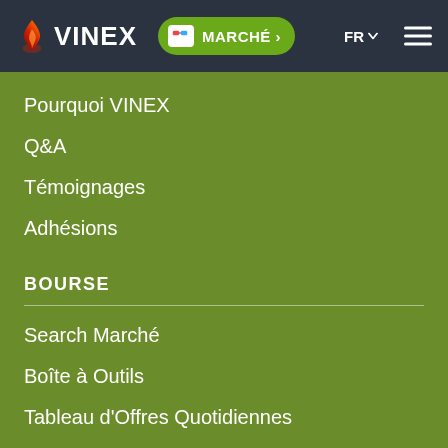VINEX | MARCHÉ | FR
Pourquoi VINEX
Q&A
Témoignages
Adhésions
BOURSE
Search Marché
Boîte à Outils
Tableau d'Offres Quotidiennes
Bourse Fermée
Compensation et Règlement
QI DU MARCHE
VINEX Weekly eNews